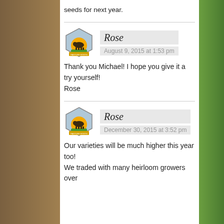seeds for next year.
Rose
August 9, 2015 at 1:53 pm
Thank you Michael! I hope you give it a try yourself!
Rose
Rose
December 30, 2015 at 3:52 pm
Our varieties will be much higher this year too! We traded with many heirloom growers over